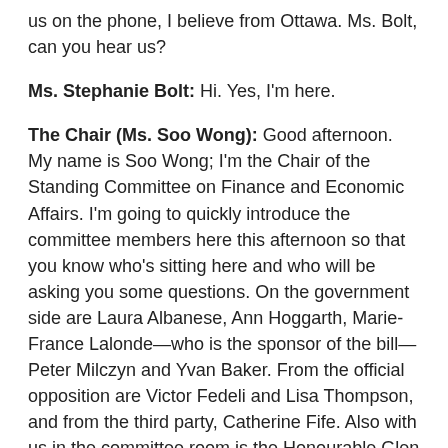us on the phone, I believe from Ottawa. Ms. Bolt, can you hear us?
Ms. Stephanie Bolt: Hi. Yes, I'm here.
The Chair (Ms. Soo Wong): Good afternoon. My name is Soo Wong; I'm the Chair of the Standing Committee on Finance and Economic Affairs. I'm going to quickly introduce the committee members here this afternoon so that you know who's sitting here and who will be asking you some questions. On the government side are Laura Albanese, Ann Hoggarth, Marie-France Lalonde—who is the sponsor of the bill—Peter Milczyn and Yvan Baker. From the official opposition are Victor Fedeli and Lisa Thompson, and from the third party, Catherine Fife. Also with us in the committee room is the Honourable Glen Murray, the Minister of the Environment and Climate Change.
As you've probably heard, you'll be given five minutes for your presentation, followed by three minutes for each of